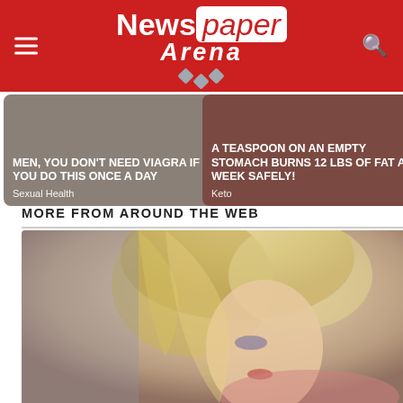Newspaper Arena
[Figure (illustration): Card with taupe background: MEN, YOU DON'T NEED VIAGRA IF YOU DO THIS ONCE A DAY — Sexual Health]
[Figure (illustration): Card with brown background: A TEASPOON ON AN EMPTY STOMACH BURNS 12 LBS OF FAT A WEEK SAFELY! — Keto]
MORE FROM AROUND THE WEB
[Figure (photo): Photo of a blonde woman looking down, partially cropped at bottom of page]